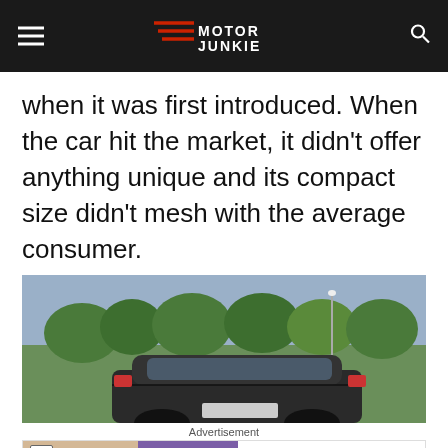Motor Junkie
when it was first introduced. When the car hit the market, it didn't offer anything unique and its compact size didn't mesh with the average consumer.
[Figure (photo): Rear view of a dark sedan parked in a suburban neighborhood with green trees and lawn in the background]
Advertisement
[Figure (other): Advertisement banner for Rollic game app - Ad tag visible, purple Rollic logo, text 'They Are Coming!' with Download link]